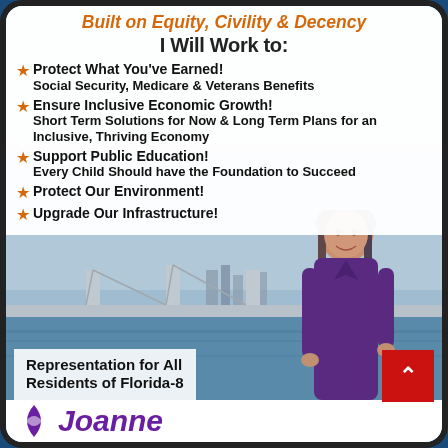Built on Equity, Civility & Decency
I Will Work to:
Protect What You've Earned! Social Security, Medicare & Veterans Benefits
Ensure Inclusive Economic Growth! Short Term Solutions for Now & Long Term Plans for an Inclusive, Thriving Economy
Support Public Education! Every Child Should have the Foundation to Succeed
Protect Our Environment!
Upgrade Our Infrastructure!
[Figure (photo): Campaign photo: woman smiling, wearing purple top, with bridge and waterway in background]
Representation for All Residents of Florida-8
Joanne